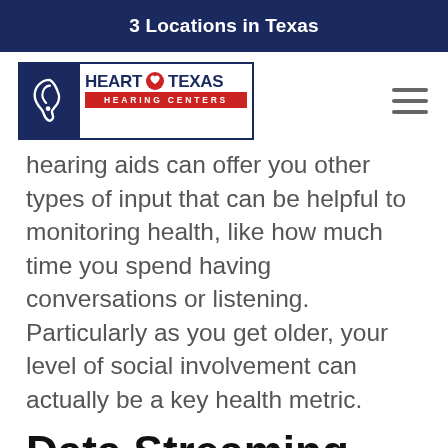3 Locations in Texas
[Figure (logo): Heart of Texas Hearing Centers logo — ear icon on blue background, brand name in navy and red]
hearing aids can offer you other types of input that can be helpful to monitoring health, like how much time you spend having conversations or listening. Particularly as you get older, your level of social involvement can actually be a key health metric.
Data Streaming